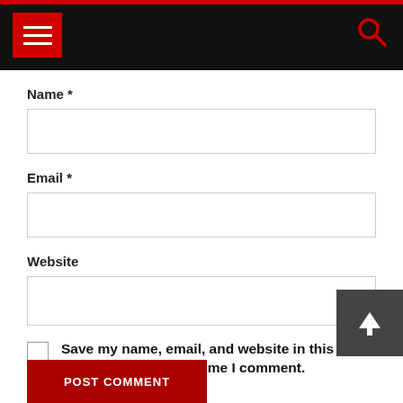[Figure (screenshot): Navigation bar with black background, red top stripe, hamburger menu button in red, and red search icon on the right]
Name *
Email *
Website
Save my name, email, and website in this browser for the next time I comment.
POST COMMENT